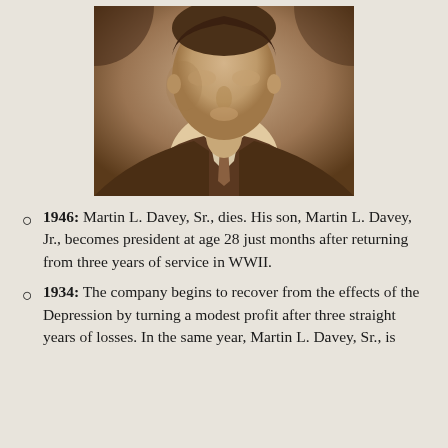[Figure (photo): Sepia-toned portrait photograph of a young man in a suit and tie, cropped from approximately the shoulders up, showing face and upper chest.]
1946: Martin L. Davey, Sr., dies. His son, Martin L. Davey, Jr., becomes president at age 28 just months after returning from three years of service in WWII.
1934: The company begins to recover from the effects of the Depression by turning a modest profit after three straight years of losses. In the same year, Martin L. Davey, Sr., is